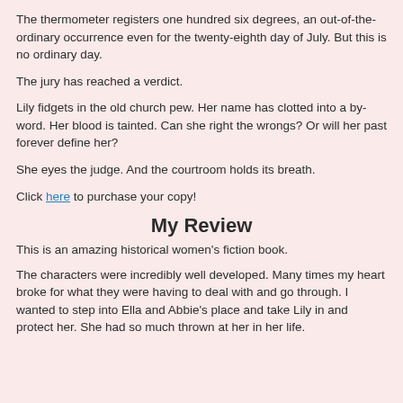The thermometer registers one hundred six degrees, an out-of-the-ordinary occurrence even for the twenty-eighth day of July. But this is no ordinary day.
The jury has reached a verdict.
Lily fidgets in the old church pew. Her name has clotted into a by-word. Her blood is tainted. Can she right the wrongs? Or will her past forever define her?
She eyes the judge. And the courtroom holds its breath.
Click here to purchase your copy!
My Review
This is an amazing historical women's fiction book.
The characters were incredibly well developed. Many times my heart broke for what they were having to deal with and go through. I wanted to step into Ella and Abbie's place and take Lily in and protect her. She had so much thrown at her in her life.